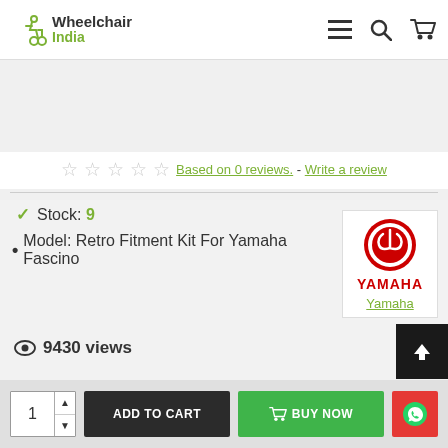Wheelchair India
[Figure (logo): Wheelchair India logo with wheelchair icon and green 'India' text]
Based on 0 reviews. - Write a review
Stock: 9
Model: Retro Fitment Kit For Yamaha Fascino
[Figure (logo): Yamaha brand logo with red tuning fork symbol and YAMAHA text in red]
Yamaha
9430 views
1  ADD TO CART  BUY NOW